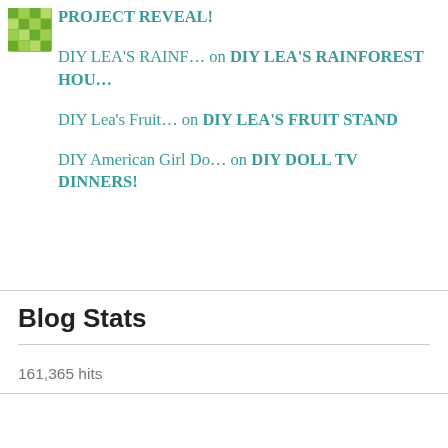[Figure (illustration): Small green mosaic/floral thumbnail image in top left corner]
PROJECT REVEAL!
DIY LEA'S RAINF… on DIY LEA'S RAINFOREST HOU…
DIY Lea's Fruit… on DIY LEA'S FRUIT STAND
DIY American Girl Do… on DIY DOLL TV DINNERS!
Blog Stats
161,365 hits